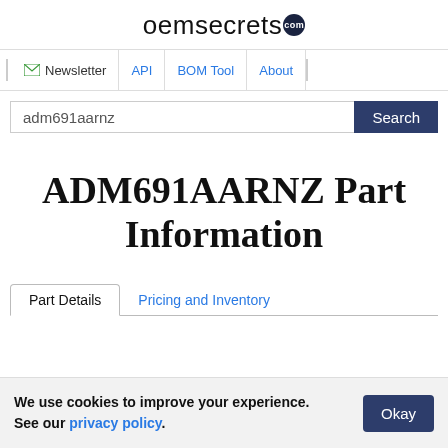oemsecrets.com
Newsletter | API | BOM Tool | About
adm691aarnz  Search
ADM691AARNZ Part Information
Part Details   Pricing and Inventory
We use cookies to improve your experience. See our privacy policy.  Okay